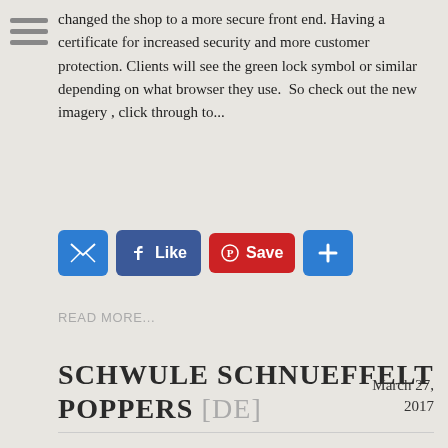changed the shop to a more secure front end. Having a certificate for increased security and more customer protection. Clients will see the green lock symbol or similar depending on what browser they use. So check out the new imagery , click through to...
[Figure (screenshot): Social sharing buttons: email (blue envelope), Facebook Like (blue), Pinterest Save (red), and a blue plus button]
READ MORE...
SCHWULE SCHNUEFFELT POPPERS [DE]
March 27, 2017
Jeder dritte Schwule schnueffelt Poppers zumindest gelegentlich, fand die letzten herumfragerei heraus.